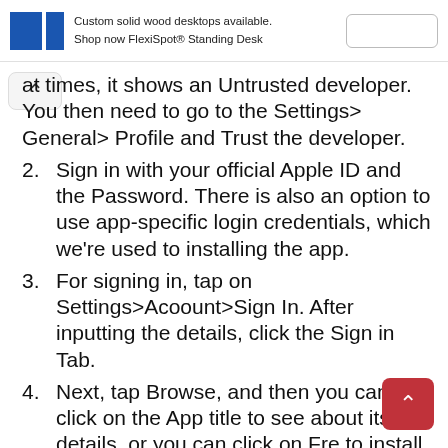Custom solid wood desktops available. Shop now FlexiSpot® Standing Desk
at times, it shows an Untrusted developer. You then need to go to the Settings> General> Profile and Trust the developer.
2. Sign in with your official Apple ID and the Password. There is also an option to use app-specific login credentials, which we're used to installing the app.
3. For signing in, tap on Settings>Acoount>Sign In. After inputting the details, click the Sign in Tab.
4. Next, tap Browse, and then you can click on the App title to see about its details, or you can click on Fre to install it on your dev
5. You can then notice the download in progress, and once it is installed, you can